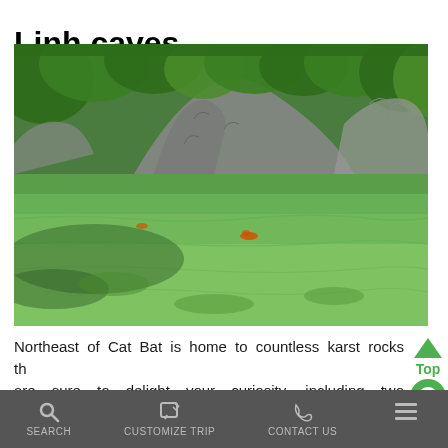Linh caves
[Figure (photo): Green lake or bay with clear green water reflecting lush trees and karst limestone rocks in the background, with a kayaker visible in the middle of the water.]
Northeast of Cat Bat is home to countless karst rocks that are sure to delight your curiosity, including two more beautiful caves, Hang Vem and Thinh Linh.
SEARCH   CUSTOMIZE TRIP   CONTACT US   [menu]